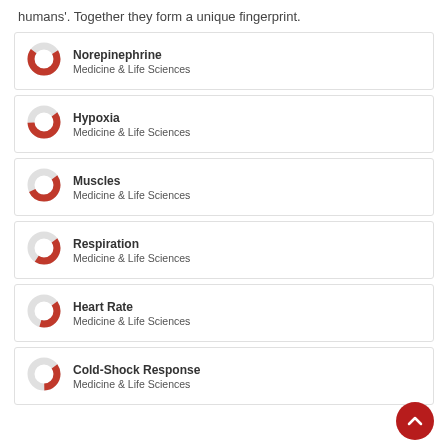humans'. Together they form a unique fingerprint.
Norepinephrine — Medicine & Life Sciences
Hypoxia — Medicine & Life Sciences
Muscles — Medicine & Life Sciences
Respiration — Medicine & Life Sciences
Heart Rate — Medicine & Life Sciences
Cold-Shock Response — Medicine & Life Sciences